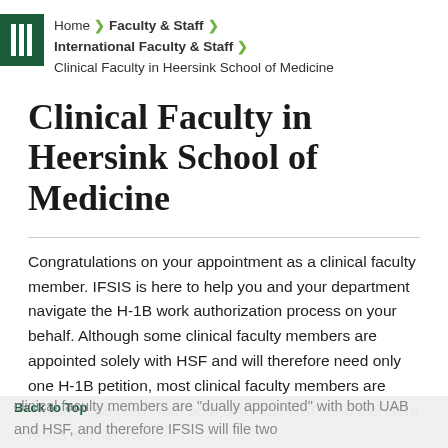Home > Faculty & Staff > International Faculty & Staff > Clinical Faculty in Heersink School of Medicine
Clinical Faculty in Heersink School of Medicine
Congratulations on your appointment as a clinical faculty member. IFSIS is here to help you and your department navigate the H-1B work authorization process on your behalf. Although some clinical faculty members are appointed solely with HSF and will therefore need only one H-1B petition, most clinical faculty members are "dually appointed" with both UAB and HSF, and therefore IFSIS will file two